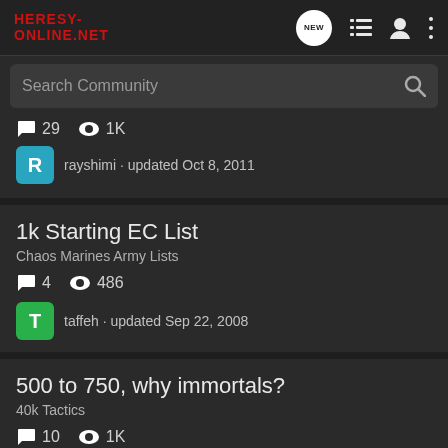Heresy-Online.net — navigation header with logo, NEW bubble, list icon, user icon, more icon
Search Community
29 comments · 1K views · rayshimi · updated Oct 8, 2011
1k Starting EC List
Chaos Marines Army Lists
4 comments · 486 views · taffeh · updated Sep 22, 2008
500 to 750, why immortals?
40k Tactics
10 comments · 1K views